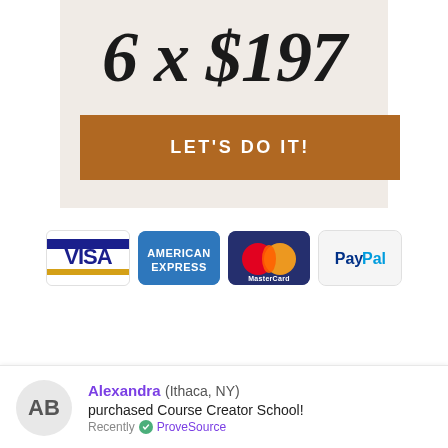6 x $197
LET'S DO IT!
[Figure (other): Payment method icons: VISA, American Express, MasterCard, PayPal]
Alexandra (Ithaca, NY) purchased Course Creator School! Recently ✓ ProveSource